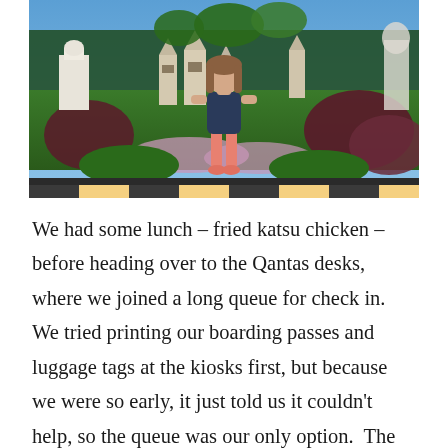[Figure (photo): A young child with long hair wearing a navy t-shirt and pink shorts stands in front of an elaborate miniature world display featuring small-scale temples, castles, and lush green landscaping with colorful flowers.]
We had some lunch – fried katsu chicken – before heading over to the Qantas desks, where we joined a long queue for check in.  We tried printing our boarding passes and luggage tags at the kiosks first, but because we were so early, it just told us it couldn't help, so the queue was our only option.  The queue was long because, despite saying the desks opened at 15:45